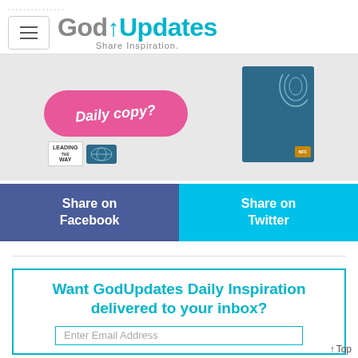GodUpdates — Share Inspiration.
[Figure (photo): Banner image showing a pink pill-shaped button with italic text and a teal/blue book with fingerprint design, plus Leading The Way logo badge]
Share on Facebook
Share on Twitter
Want GodUpdates Daily Inspiration delivered to your inbox?
Enter Email Address